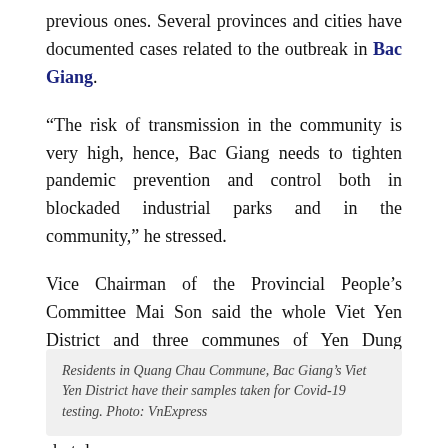previous ones. Several provinces and cities have documented cases related to the outbreak in Bac Giang.
“The risk of transmission in the community is very high, hence, Bac Giang needs to tighten pandemic prevention and control both in blockaded industrial parks and in the community,” he stressed.
Vice Chairman of the Provincial People’s Committee Mai Son said the whole Viet Yen District and three communes of Yen Dung District had applied social distancing. Four industrial parks including Van Trung, Dinh Tram, Song Khe-Noi Hoang and Quang Chau have also shut down.
Residents in Quang Chau Commune, Bac Giang’s Viet Yen District have their samples taken for Covid-19 testing. Photo: VnExpress